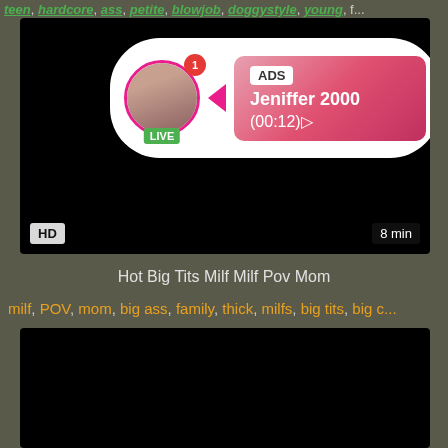teen, hardcore, ass, petite, blowjob, doggystyle, young, f...
[Figure (screenshot): Video thumbnail with ad overlay showing a live stream notification for 'Jeniffer 2000' with (00:12) timer, HD badge and 8 min duration label]
Hot Big Tits Milf Milf Pov Mom
milf, POV, mom, big ass, family, thick, milfs, big tits, big c...
[Figure (screenshot): Second video thumbnail, black/dark content area]